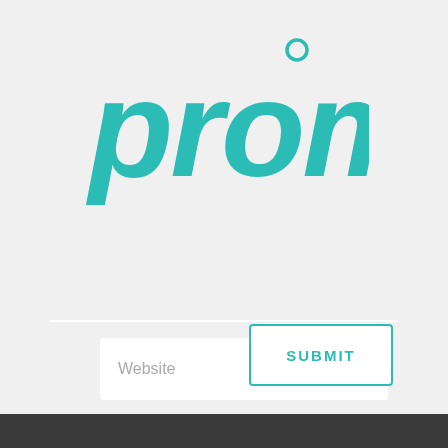[Figure (logo): Promis brand logo in teal/turquoise italic text with a small circle above the letter i]
Website
Save my name, email, and website in this browser for the next time I comment.
SUBMIT